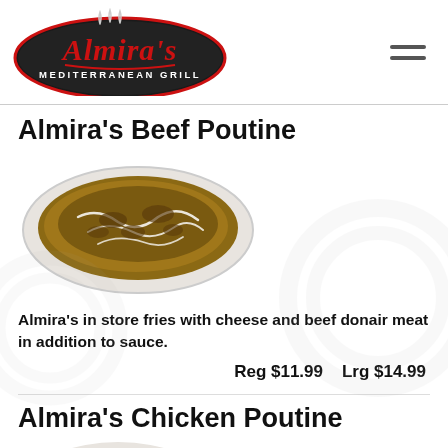[Figure (logo): Almira's Mediterranean Grill logo — oval black badge with red script 'Almira's' and steam wisps above, 'MEDITERRANEAN GRILL' in white letters]
Almira's Beef Poutine
[Figure (photo): Photo of beef poutine on an oval white plate — fries topped with cheese curds, beef donair meat, and white sauce drizzled on top]
Almira's in store fries with cheese and beef donair meat in addition to sauce.
Reg $11.99    Lrg $14.99
Almira's Chicken Poutine